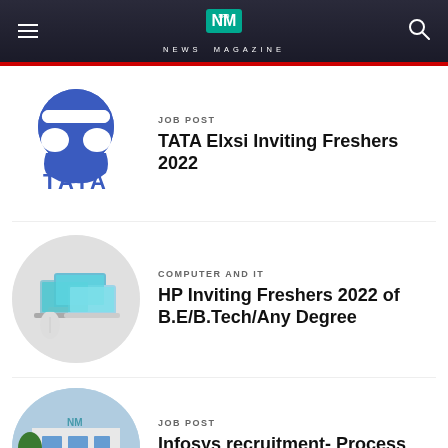NEWS MAGAZINE
[Figure (logo): Tata logo - blue circle with T shape and TATA text below]
JOB POST
TATA Elxsi Inviting Freshers 2022
[Figure (photo): HP laptops arranged in circular thumbnail - multiple laptop screens]
COMPUTER AND IT
HP Inviting Freshers 2022 of B.E/B.Tech/Any Degree
[Figure (photo): Infosys building exterior in circular thumbnail]
JOB POST
Infosys recruitment- Process Executive